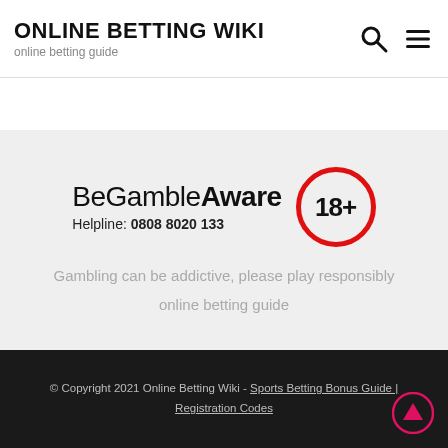ONLINE BETTING WIKI
online betting guide
[Figure (logo): BeGambleAware logo with 18+ circle badge and helpline number 0808 8020 133]
Gambling can be addictive, please play responsibly
online betting guide
© Copyright 2021 Online Betting Wiki - Sports Betting Bonus Guide | Registration Codes